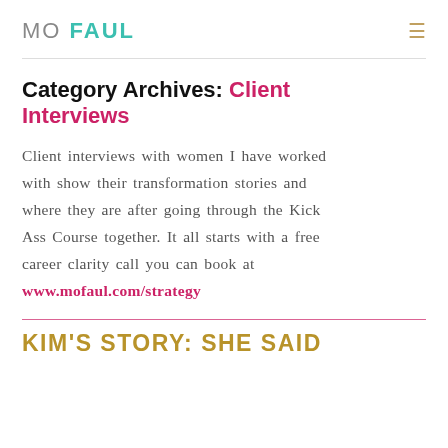MO FAUL
Category Archives: Client Interviews
Client interviews with women I have worked with show their transformation stories and where they are after going through the Kick Ass Course together. It all starts with a free career clarity call you can book at www.mofaul.com/strategy
KIM'S STORY: SHE SAID